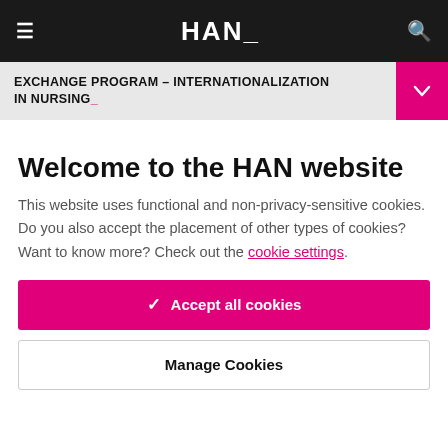HAN_
EXCHANGE PROGRAM – INTERNATIONALIZATION IN NURSING_
Welcome to the HAN website
This website uses functional and non-privacy-sensitive cookies. Do you also accept the placement of other types of cookies? Want to know more? Check out the cookie settings.
Accept all cookies
Manage Cookies